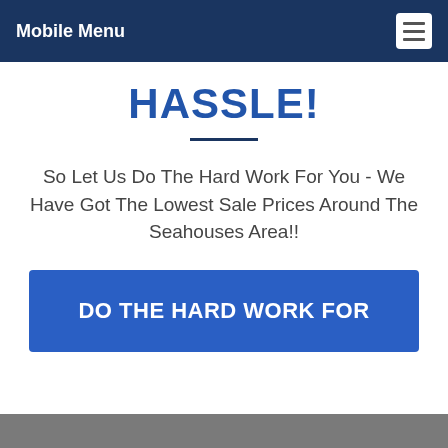Mobile Menu
HASSLE!
So Let Us Do The Hard Work For You - We Have Got The Lowest Sale Prices Around The Seahouses Area!!
[Figure (other): Blue CTA button with text 'DO THE HARD WORK FOR']
[Figure (photo): Partial image visible at bottom of page]